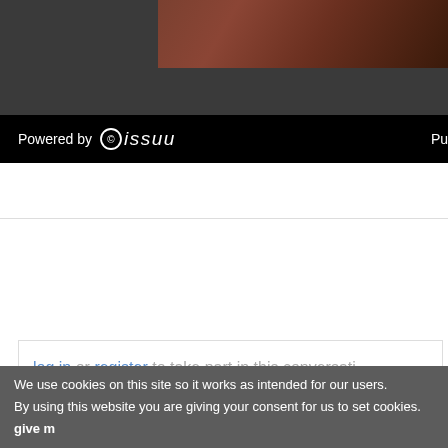[Figure (screenshot): Top portion of an Issuu document viewer showing a dark background with a brownish book/document image on the right side]
[Figure (screenshot): Black Issuu branding bar with 'Powered by issuu' text and logo on the left, and 'Pu' text cut off on the right]
log in or register to take part in this conversati
[Figure (screenshot): Social sharing section with Facebook and Twitter circular icon buttons on a light grey background]
We use cookies on this site so it works as intended for our users. By using this website you are giving your consent for us to set cookies. give m